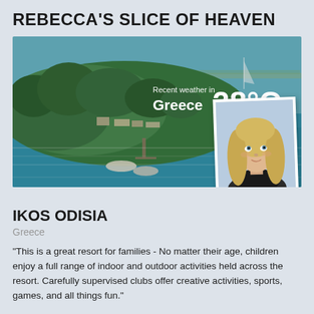REBECCA'S SLICE OF HEAVEN
[Figure (photo): Aerial/drone photo of a Greek coastal resort (Ikos Odisia) with turquoise water, green trees, and boats, overlaid with weather text 'Recent weather in Greece 28°C' and a portrait photo of a blonde woman in the lower right corner.]
IKOS ODISIA
Greece
"This is a great resort for families - No matter their age, children enjoy a full range of indoor and outdoor activities held across the resort. Carefully supervised clubs offer creative activities, sports, games, and all things fun."